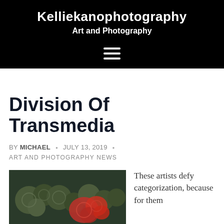Kelliekanophotography
Art and Photography
[Figure (other): Hamburger menu icon (three horizontal white lines on black background)]
Division Of Transmedia
BY MICHAEL • JULY 13, 2019 • ART AND PHOTOGRAPHY NEWS
[Figure (photo): Close-up artistic photo of colorful roses or swirling painted flowers with red and green tones on dark background]
These artists defy categorization, because for them